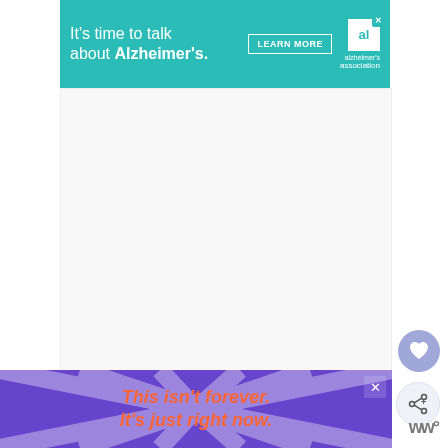[Figure (screenshot): Advertisement banner for Alzheimer's Association: teal background with text 'It's time to talk about Alzheimer's.' with a LEARN MORE button and the Alzheimer's Association logo.]
[Figure (screenshot): White content area (blank/image not loaded)]
To pull off this hairstyle, you will need to create a beautiful transition using layers. The longer top hair should reach the jawline while the strands u...
[Figure (screenshot): WHAT'S NEXT panel showing a woman avatar and text '21 Trendiest Long Bob...']
[Figure (screenshot): Bottom advertisement with purple background, radiating lines, orange italic text 'This isn't forever. It's just right now.' with a close button and 'W' wordmark.]